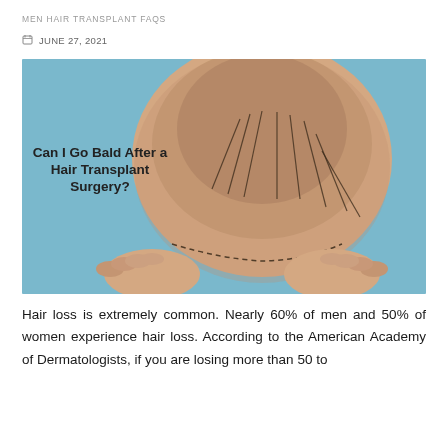MEN HAIR TRANSPLANT FAQS
JUNE 27, 2021
[Figure (photo): Top-down view of a man's balding head with surgical marking lines drawn on the scalp, hands visible on the sides. Text overlay reads: Can I Go Bald After a Hair Transplant Surgery?]
Hair loss is extremely common. Nearly 60% of men and 50% of women experience hair loss. According to the American Academy of Dermatologists, if you are losing more than 50 to